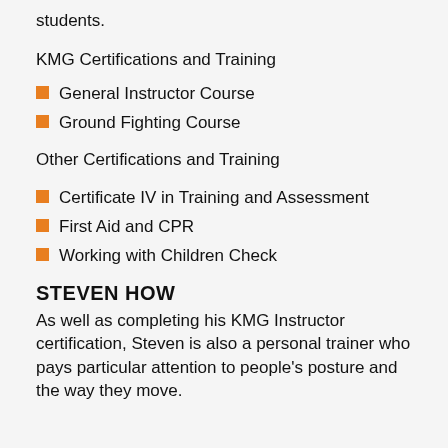students.
KMG Certifications and Training
General Instructor Course
Ground Fighting Course
Other Certifications and Training
Certificate IV in Training and Assessment
First Aid and CPR
Working with Children Check
STEVEN HOW
As well as completing his KMG Instructor certification, Steven is also a personal trainer who pays particular attention to people's posture and the way they move.